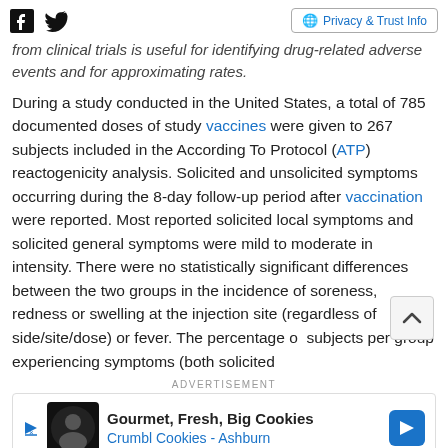Facebook | Twitter | Privacy & Trust Info
from clinical trials is useful for identifying drug-related adverse events and for approximating rates.
During a study conducted in the United States, a total of 785 documented doses of study vaccines were given to 267 subjects included in the According To Protocol (ATP) reactogenicity analysis. Solicited and unsolicited symptoms occurring during the 8-day follow-up period after vaccination were reported. Most reported solicited local symptoms and solicited general symptoms were mild to moderate in intensity. There were no statistically significant differences between the two groups in the incidence of soreness, redness or swelling at the injection site (regardless of side/site/dose) or fever. The percentage of subjects per group experiencing symptoms (both solicited
ADVERTISEMENT
Gourmet, Fresh, Big Cookies Crumbl Cookies - Ashburn